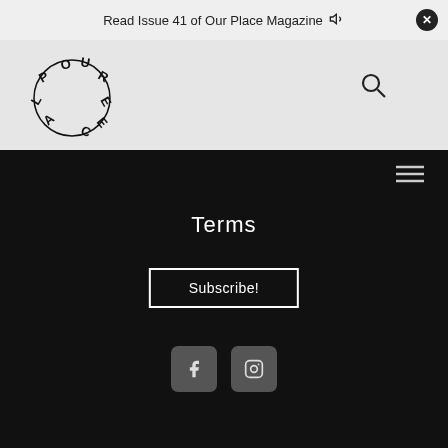Read Issue 41 of Our Place Magazine
[Figure (logo): Our Place Magazine circular logo with scattered letters O, U, R, P, L, A, C, E arranged around a circle]
Terms
Subscribe!
[Figure (infographic): Facebook and Instagram social media icon buttons]